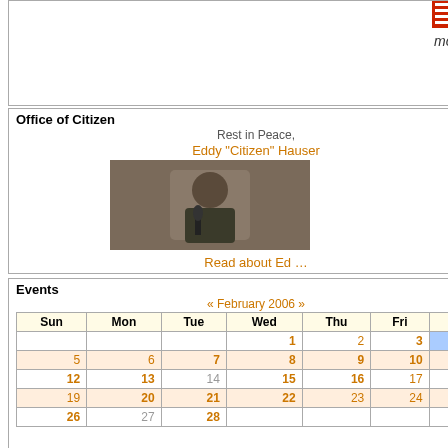more
Office of Citizen
Rest in Peace,
Eddy "Citizen" Hauser
Read about Ed ...
[Figure (photo): Photo of Eddy Hauser speaking at a microphone]
Events
« February 2006 »
| Sun | Mon | Tue | Wed | Thu | Fri | Sat |
| --- | --- | --- | --- | --- | --- | --- |
|  |  |  | 1 | 2 | 3 | 4 |
| 5 | 6 | 7 | 8 | 9 | 10 | 11 |
| 12 | 13 | 14 | 15 | 16 | 17 | 18 |
| 19 | 20 | 21 | 22 | 23 | 24 | 25 |
| 26 | 27 | 28 |  |  |  |  |
Navigation
Create Content
more...
Recent posts
Search
End: 2:00 pm
3323
reads
End: 4:00 pm
3000
reads
End: 8:30 pm
3327
reads
Meet Frontini @ Josaphat Arts Hall & TV reviews this W/E
Start: 12:00 pm
End: 1:00 pm
2937
reads